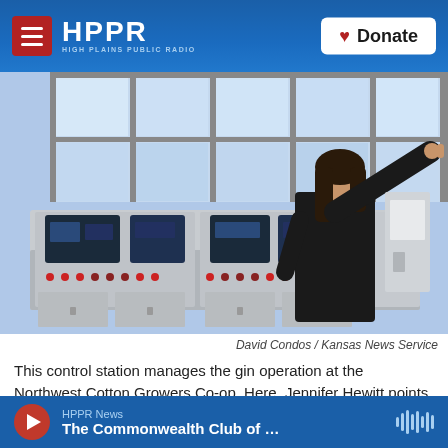HPPR HIGH PLAINS PUBLIC RADIO | Donate
[Figure (photo): A woman in a black jacket standing at a curved industrial control station with multiple screens and buttons, pointing through a large glass window toward machinery in the background.]
David Condos / Kansas News Service
This control station manages the gin operation at the Northwest Cotton Growers Co-op. Here, Jennifer Hewitt points through the glass that
HPPR News | The Commonwealth Club of ...